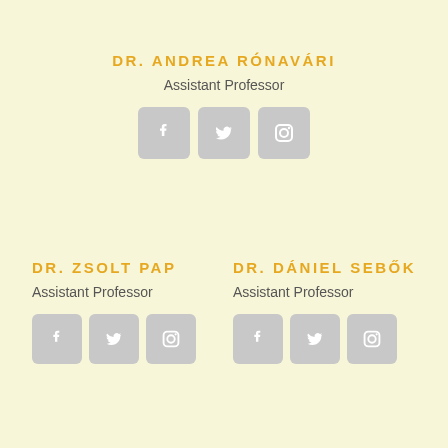DR. ANDREA RÓNAVÁRI
Assistant Professor
[Figure (infographic): Three social media icons: Facebook, Twitter, Instagram]
DR. ZSOLT PAP
Assistant Professor
[Figure (infographic): Three social media icons: Facebook, Twitter, Instagram]
DR. DÁNIEL SEBŐK
Assistant Professor
[Figure (infographic): Three social media icons: Facebook, Twitter, Instagram]